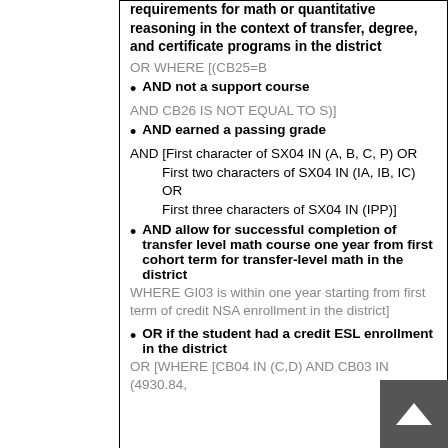requirements for math or quantitative reasoning in the context of transfer, degree, and certificate programs in the district
OR WHERE [(CB25=B
AND not a support course
AND CB26 IS NOT EQUAL TO S)]
AND earned a passing grade
AND [First character of SX04 IN (A, B, C, P) OR
First two characters of SX04 IN (IA, IB, IC) OR
First three characters of SX04 IN (IPP)]
AND allow for successful completion of transfer level math course one year from first cohort term for transfer-level math in the district
WHERE GI03 is within one year starting from first term of credit NSA enrollment in the district]
OR if the student had a credit ESL enrollment in the district
OR [WHERE [CB04 IN (C,D) AND CB03 IN (4930.84, 4930.85, 4930.86